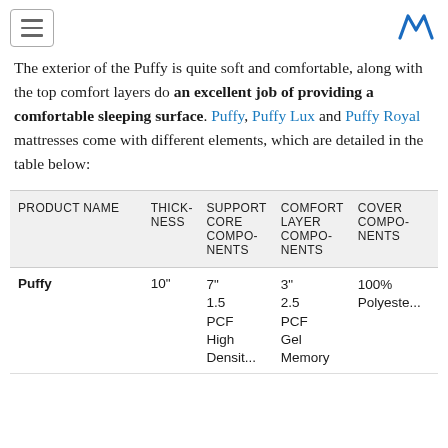[hamburger menu] [M logo]
The exterior of the Puffy is quite soft and comfortable, along with the top comfort layers do an excellent job of providing a comfortable sleeping surface. Puffy, Puffy Lux and Puffy Royal mattresses come with different elements, which are detailed in the table below:
| PRODUCT NAME | THICKNESS | SUPPORT CORE COMPONENTS | COMFORT LAYER COMPONENTS | COVER COMPONENTS |
| --- | --- | --- | --- | --- |
| Puffy | 10" | 7"
1.5 PCF
High Density | 3"
2.5 PCF
Gel Memory | 100%
Polyeste... |